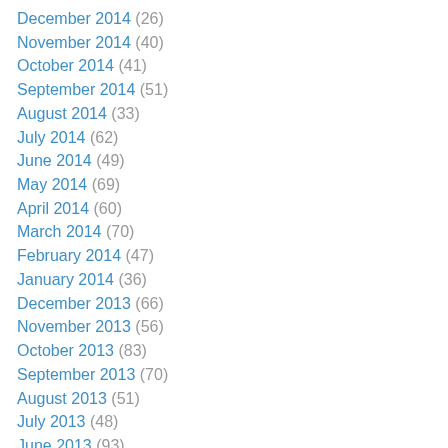December 2014 (26)
November 2014 (40)
October 2014 (41)
September 2014 (51)
August 2014 (33)
July 2014 (62)
June 2014 (49)
May 2014 (69)
April 2014 (60)
March 2014 (70)
February 2014 (47)
January 2014 (36)
December 2013 (66)
November 2013 (56)
October 2013 (83)
September 2013 (70)
August 2013 (51)
July 2013 (48)
June 2013 (93)
May 2013 (90)